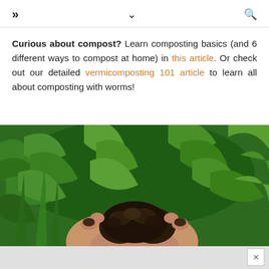» ∨ 🔍
Curious about compost? Learn composting basics (and 6 different ways to compost at home) in this article. Or check out our detailed vermicomposting 101 article to learn all about composting with worms!
[Figure (photo): Hands holding dark rich compost soil with green leafy plants in background, and a gray advertisement bar at the bottom with an X close button.]